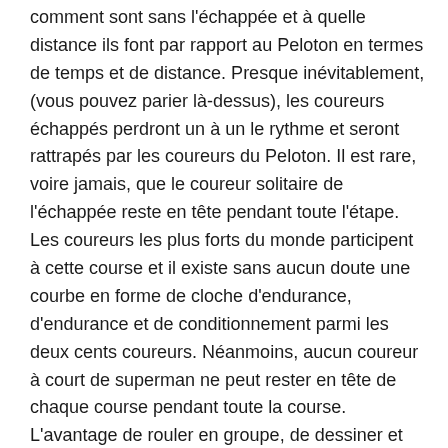comment sont sans l'échappée et à quelle distance ils font par rapport au Peloton en termes de temps et de distance. Presque inévitablement, (vous pouvez parier là-dessus), les coureurs échappés perdront un à un le rythme et seront rattrapés par les coureurs du Peloton. Il est rare, voire jamais, que le coureur solitaire de l'échappée reste en tête pendant toute l'étape. Les coureurs les plus forts du monde participent à cette course et il existe sans aucun doute une courbe en forme de cloche d'endurance, d'endurance et de conditionnement parmi les deux cents coureurs. Néanmoins, aucun coureur à court de superman ne peut rester en tête de chaque course pendant toute la course. L'avantage de rouler en groupe, de dessiner et d'éviter les courants de vent est trop grand pour que le solitaire puisse maintenir un rythme gagnant pendant toute une étape.